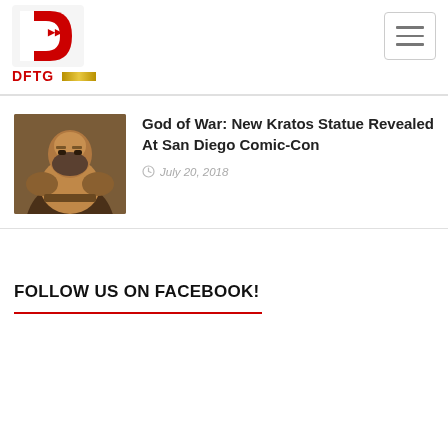DFTG
[Figure (logo): DFTG website logo — red and white geometric D-shaped icon with forward arrows, with red DFTG text and gold bar below]
God of War: New Kratos Statue Revealed At San Diego Comic-Con
July 20, 2018
FOLLOW US ON FACEBOOK!